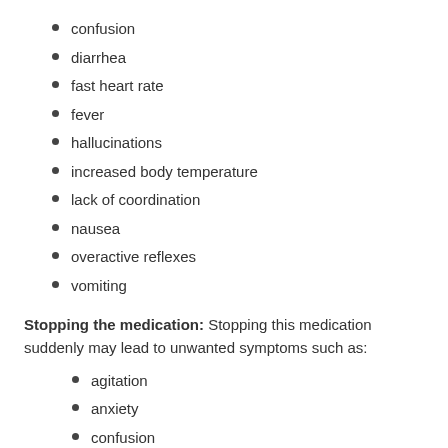confusion
diarrhea
fast heart rate
fever
hallucinations
increased body temperature
lack of coordination
nausea
overactive reflexes
vomiting
Stopping the medication: Stopping this medication suddenly may lead to unwanted symptoms such as:
agitation
anxiety
confusion